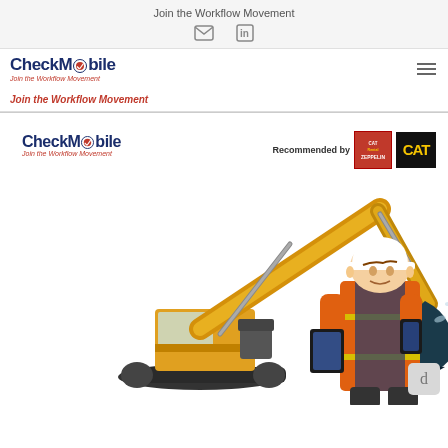Join the Workflow Movement
[Figure (logo): CheckMobile logo with tagline 'Join the Workflow Movement' and hamburger menu icon in navigation bar]
Join the Workflow Movement
[Figure (photo): CheckMobile branded hero image showing a large yellow CAT excavator with a construction worker in orange safety vest holding a tablet. Text overlay shows CheckMobile logo, tagline 'Join the Workflow Movement', and 'Recommended by' CAT Rental Zeppelin and CAT brand logos.]